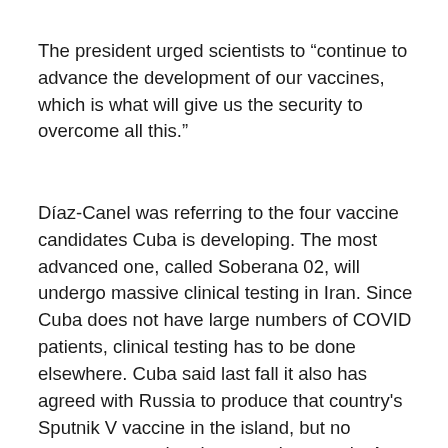The president urged scientists to “continue to advance the development of our vaccines, which is what will give us the security to overcome all this.”
Díaz-Canel was referring to the four vaccine candidates Cuba is developing. The most advanced one, called Soberana 02, will undergo massive clinical testing in Iran. Since Cuba does not have large numbers of COVID patients, clinical testing has to be done elsewhere. Cuba said last fall it also has agreed with Russia to produce that country's Sputnik V vaccine in the island, but no announcement has been made recently. As other Latin American countries have begun massive vaccination campaigns, critical voices are rising within Cuba, asking why the government is not buying the U.S.-, European-, Russian- and Chinese-made vaccines used by Mexico and Chile.